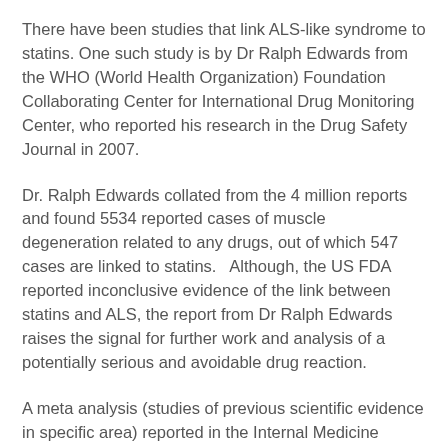There have been studies that link ALS-like syndrome to statins. One such study is by Dr Ralph Edwards from the WHO (World Health Organization) Foundation Collaborating Center for International Drug Monitoring Center, who reported his research in the Drug Safety Journal in 2007.
Dr. Ralph Edwards collated from the 4 million reports and found 5534 reported cases of muscle degeneration related to any drugs, out of which 547 cases are linked to statins.   Although, the US FDA reported inconclusive evidence of the link between statins and ALS, the report from Dr Ralph Edwards raises the signal for further work and analysis of a potentially serious and avoidable drug reaction.
A meta analysis (studies of previous scientific evidence in specific area) reported in the Internal Medicine Journal by Professor Kausik Ray of University of